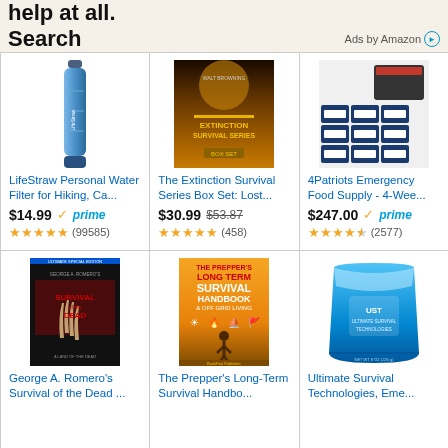help at all.
Search
Ads by Amazon
[Figure (photo): LifeStraw Personal Water Filter product image - blue cylindrical filter]
LifeStraw Personal Water Filter for Hiking, Ca...
$14.99 prime ★★★★★ (99585)
[Figure (photo): The Extinction Survival Series Box Set book/movie cover with soldier and dog]
The Extinction Survival Series Box Set: Lost...
$30.99 $53.87 ★★★★★ (458)
[Figure (photo): 4Patriots Emergency Food Supply boxes with container]
4Patriots Emergency Food Supply - 4-Wee...
$247.00 prime ★★★★½ (2577)
[Figure (photo): George A. Romero's Survival of the Dead Blu-ray cover]
George A. Romero's Survival of the Dead ...
[Figure (photo): The Prepper's Long Term Survival Handbook & Off Grid Living book cover]
The Prepper's Long-Term Survival Handbo...
[Figure (photo): Ultimate Survival Technologies emergency bag, blue packaging]
Ultimate Survival Technologies, Eme...